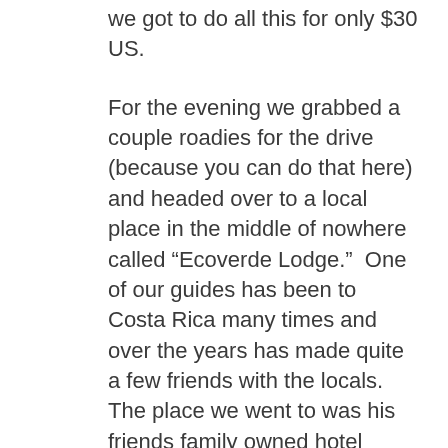we got to do all this for only $30 US.
For the evening we grabbed a couple roadies for the drive (because you can do that here) and headed over to a local place in the middle of nowhere called “Ecoverde Lodge.”  One of our guides has been to Costa Rica many times and over the years has made quite a few friends with the locals.  The place we went to was his friends family owned hotel which was great because we had full range of the sound system and main room so we were belting out karaoke tunes all night while enjoying some yummy tacos!
On Monday we left Monteverde in the morning and headed for Manuel Antonio.  On the way we stopped at a bridge that we had to cross since below it is the most concentrated area of Crocodiles in Central America.  It was pretty freaky